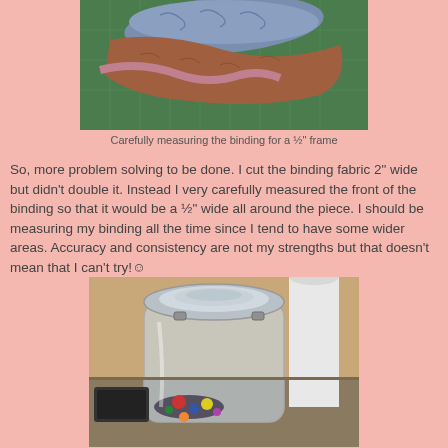[Figure (photo): Photo of fabric binding pieces on a green cutting mat, showing patterned fabric pieces laid out for measuring]
Carefully measuring the binding for a ½" frame
So, more problem solving to be done. I cut the binding fabric 2" wide but didn't double it. Instead I very carefully measured the front of the binding so that it would be a ½" wide all around the piece. I should be measuring my binding all the time since I tend to have some wider areas. Accuracy and consistency are not my strengths but that doesn't mean that I can't try!☺
[Figure (photo): Photo of a large glass jar with a metal latch lid containing assorted buttons, sitting on a table next to a white cylindrical object]